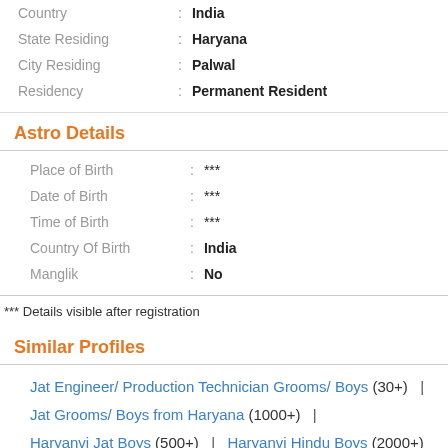| Country | India |
| State Residing | Haryana |
| City Residing | Palwal |
| Residency | Permanent Resident |
Astro Details
| Place of Birth | *** |
| Date of Birth | *** |
| Time of Birth | *** |
| Country Of Birth | India |
| Manglik | No |
*** Details visible after registration
Similar Profiles
Jat Engineer/ Production Technician Grooms/ Boys (30+) |
Jat Grooms/ Boys from Haryana (1000+) |
Haryanvi Jat Boys (500+) | Haryanvi Hindu Boys (2000+) |